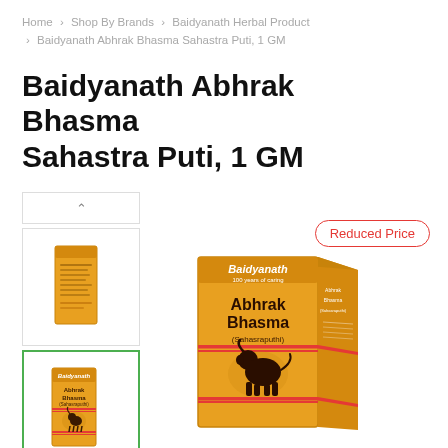Home > Shop By Brands > Baidyanath Herbal Product > Baidyanath Abhrak Bhasma Sahastra Puti, 1 GM
Baidyanath Abhrak Bhasma Sahastra Puti, 1 GM
[Figure (photo): Thumbnail navigation column with up-arrow button, small product back-of-box image, selected thumbnail showing Baidyanath Abhrak Bhasma front, and down-arrow button]
Reduced Price
[Figure (photo): Large main product image: Baidyanath Abhrak Bhasma (Sahasraputhi) gold/orange box with red accent lines and Nandi bull logo]